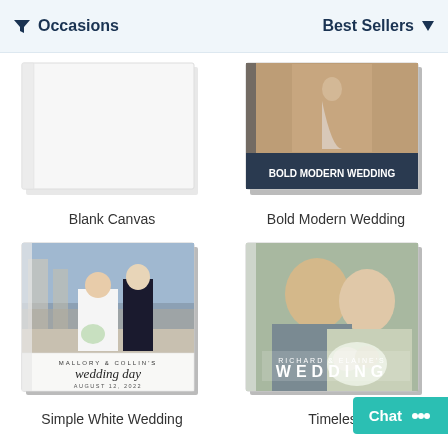Occasions | Best Sellers
[Figure (screenshot): Blank Canvas book cover — plain white/light gray cover]
Blank Canvas
[Figure (screenshot): Bold Modern Wedding book cover — photo of bride in rocky landscape]
Bold Modern Wedding
[Figure (screenshot): Simple White Wedding book cover — bride and groom walking, script text 'MALLORY & COLLIN'S wedding day AUGUST 12, 2022']
Simple White Wedding
[Figure (screenshot): Timeless wedding book cover — older couple smiling with bouquet, text 'WEDDING']
Timeless